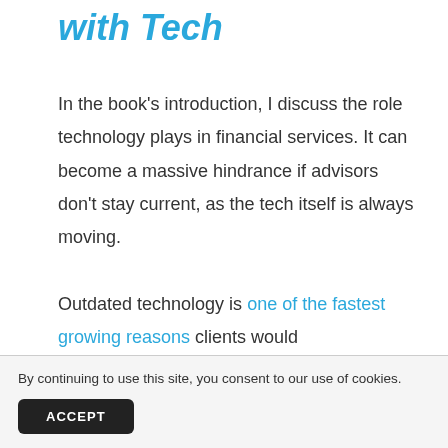with Tech
In the book's introduction, I discuss the role technology plays in financial services. It can become a massive hindrance if advisors don't stay current, as the tech itself is always moving.
Outdated technology is one of the fastest growing reasons clients would
By continuing to use this site, you consent to our use of cookies.